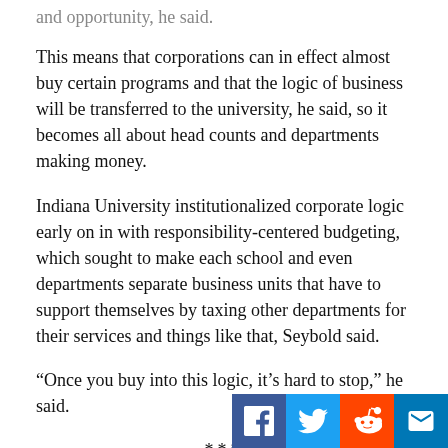and opportunity, he said.
This means that corporations can in effect almost buy certain programs and that the logic of business will be transferred to the university, he said, so it becomes all about head counts and departments making money.
Indiana University institutionalized corporate logic early on in with responsibility-centered budgeting, which sought to make each school and even departments separate business units that have to support themselves by taxing other departments for their services and things like that, Seybold said.
“Once you buy into this logic, it’s hard to stop,” he said.
***
In the broader social sense, the Right’s attack on university culture reflects the elites’ concerns about the counterculture and the movements of the 60n efforts to repudiate them, Seybold said.